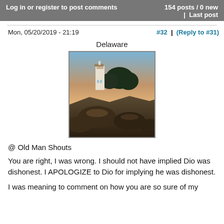Log in or register to post comments | 154 posts / 0 new | Last post
Mon, 05/20/2019 - 21:19
#32 | (Reply to #31)
Delaware
[Figure (photo): Lighthouse on rocky coastline at dusk with trees and orange/pink sky in background]
@ Old Man Shouts
You are right, I was wrong. I should not have implied Dio was dishonest. I APOLOGIZE to Dio for implying he was dishonest.
I was meaning to comment on how you are so sure of my